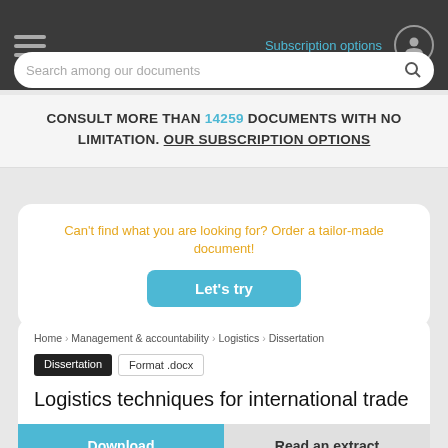Subscription options
Search among our documents
CONSULT MORE THAN 14259 DOCUMENTS WITH NO LIMITATION. OUR SUBSCRIPTION OPTIONS
Can't find what you are looking for? Order a tailor-made document!
Let's try
Home  Management & accountability  Logistics  Dissertation
Dissertation  Format .docx
Logistics techniques for international trade
Download  Read an extract